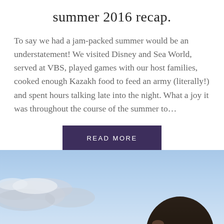summer 2016 recap.
To say we had a jam-packed summer would be an understatement!  We visited Disney and Sea World, served at VBS, played games with our host families, cooked enough Kazakh food to feed an army (literally!) and spent hours talking late into the night.  What a joy it was throughout the course of the summer to…
READ MORE
[Figure (photo): Outdoor photo showing a blue sky with clouds and a person's head visible at lower right, cropped at the bottom of the page]